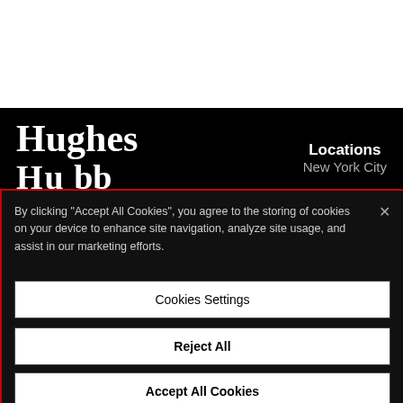[Figure (screenshot): White top area of the page background]
Hughes Hubbard
Locations
New York City
By clicking “Accept All Cookies”, you agree to the storing of cookies on your device to enhance site navigation, analyze site usage, and assist in our marketing efforts.
Cookies Settings
Reject All
Accept All Cookies